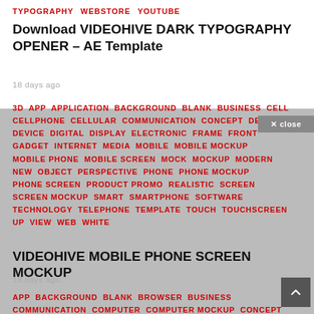TYPOGRAPHY  WEBSTORE  YOUTUBE
Download VIDEOHIVE DARK TYPOGRAPHY OPENER – AE Template
18 days ago
3D APP APPLICATION BACKGROUND BLANK BUSINESS CELL CELLPHONE CELLULAR COMMUNICATION CONCEPT DES DEVICE DIGITAL DISPLAY ELECTRONIC FRAME FRONT GADGET INTERNET MEDIA MOBILE MOBILE MOCKUP MOBILE PHONE MOBILE SCREEN MOCK MOCKUP MODERN NEW OBJECT PERSPECTIVE PHONE PHONE MOCKUP PHONE SCREEN PRODUCT PROMO REALISTIC SCREEN SCREEN MOCKUP SMART SMARTPHONE SOFTWARE TECHNOLOGY TELEPHONE TEMPLATE TOUCH TOUCHSCREEN UP VIEW WEB WHITE
VIDEOHIVE MOBILE PHONE SCREEN MOCKUP
18 days ago
APP BACKGROUND BLANK BROWSER BUSINESS COMMUNICATION COMPUTER COMPUTER MOCKUP CONCEPT